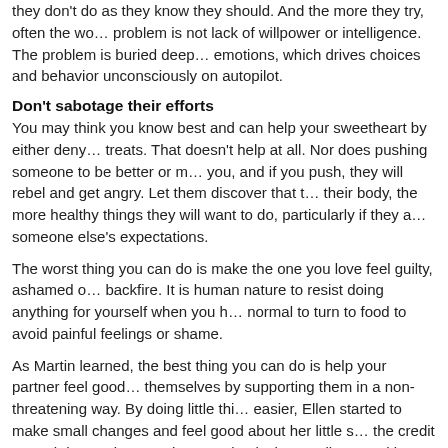they don't do as they know they should. And the more they try, often the wo... problem is not lack of willpower or intelligence. The problem is buried deep... emotions, which drives choices and behavior unconsciously on autopilot.
Don't sabotage their efforts
You may think you know best and can help your sweetheart by either deny... treats. That doesn't help at all. Nor does pushing someone to be better or m... you, and if you push, they will rebel and get angry. Let them discover that t... their body, the more healthy things they will want to do, particularly if they a... someone else's expectations.
The worst thing you can do is make the one you love feel guilty, ashamed o... backfire. It is human nature to resist doing anything for yourself when you h... normal to turn to food to avoid painful feelings or shame.
As Martin learned, the best thing you can do is help your partner feel good... themselves by supporting them in a non-threatening way. By doing little thi... easier, Ellen started to make small changes and feel good about her little s... the credit or push her to do more; he was simply there to listen and be sup... slimmed down and became the one who wanted to take an active vacation... her in a 5k. The same could happen in your relationship.
This column was originally posted at YourTango.com.
Posted in Blog, Healthy Weight, Solving Eating Issues, Solving Fitness Issues, Wei... self-confidence, healthy mindset, How to live a healthy lifestyle, losing weight, obesity, s... success | 0 Comments
Simple Strategies for Controlling Holiday Eating